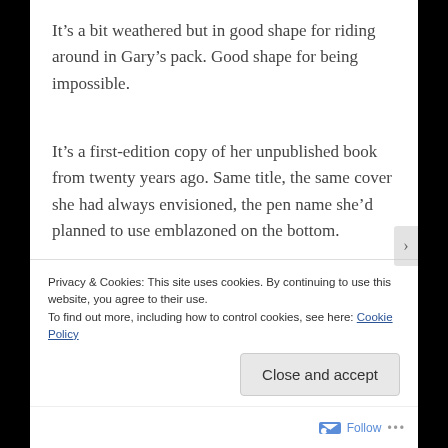It's a bit weathered but in good shape for riding around in Gary's pack. Good shape for being impossible.
It's a first-edition copy of her unpublished book from twenty years ago. Same title, the same cover she had always envisioned, the pen name she'd planned to use emblazoned on the bottom.
Privacy & Cookies: This site uses cookies. By continuing to use this website, you agree to their use.
To find out more, including how to control cookies, see here: Cookie Policy
Close and accept